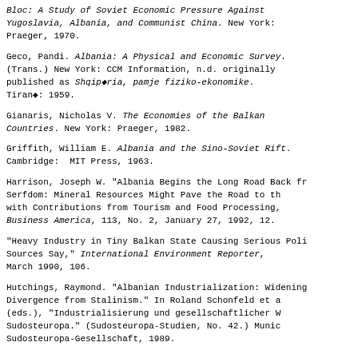Freedman, Robert Owen. Economic Warfare in the Communist Bloc: A Study of Soviet Economic Pressure Against Yugoslavia, Albania, and Communist China. New York: Praeger, 1970.
Geco, Pandi. Albania: A Physical and Economic Survey. (Trans.) New York: CCM Information, n.d. originally published as Shqipëria, pamje fiziko-ekonomike. Tiranë: 1959.
Gianaris, Nicholas V. The Economies of the Balkan Countries. New York: Praeger, 1982.
Griffith, William E. Albania and the Sino-Soviet Rift. Cambridge: MIT Press, 1963.
Harrison, Joseph W. "Albania Begins the Long Road Back from Serfdom: Mineral Resources Might Pave the Road to the Top with Contributions from Tourism and Food Processing," Business America, 113, No. 2, January 27, 1992, 12.
"Heavy Industry in Tiny Balkan State Causing Serious Pollution, Sources Say," International Environment Reporter, March 1990, 106.
Hutchings, Raymond. "Albanian Industrialization: Widening Divergence from Stalinism." In Roland Schonfeld et al. (eds.), "Industrialisierung und gesellschaftlicher Wandel in Sudosteuropa." (Sudosteuropa-Studien, No. 42.) Munich: Sudosteuropa-Gesellschaft, 1989.